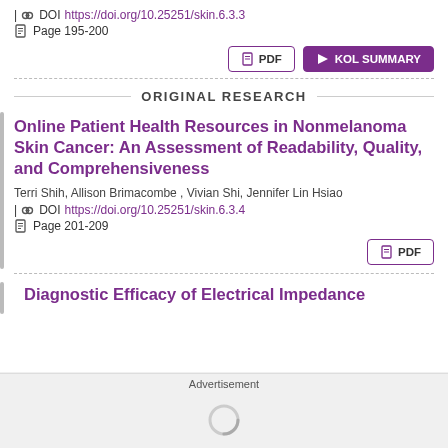| DOI https://doi.org/10.25251/skin.6.3.3
Page 195-200
PDF | KOL SUMMARY
ORIGINAL RESEARCH
Online Patient Health Resources in Nonmelanoma Skin Cancer: An Assessment of Readability, Quality, and Comprehensiveness
Terri Shih, Allison Brimacombe , Vivian Shi, Jennifer Lin Hsiao
| DOI https://doi.org/10.25251/skin.6.3.4
Page 201-209
PDF
Diagnostic Efficacy of Electrical Impedance
Advertisement